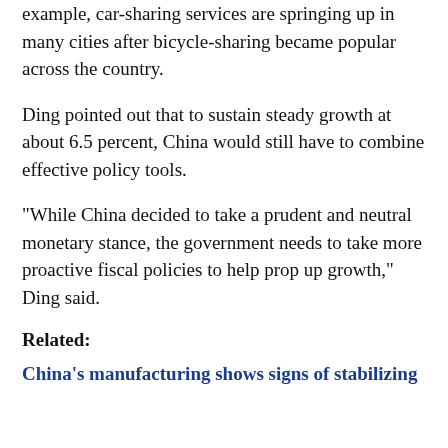example, car-sharing services are springing up in many cities after bicycle-sharing became popular across the country.
Ding pointed out that to sustain steady growth at about 6.5 percent, China would still have to combine effective policy tools.
"While China decided to take a prudent and neutral monetary stance, the government needs to take more proactive fiscal policies to help prop up growth," Ding said.
Related:
China's manufacturing shows signs of stabilizing